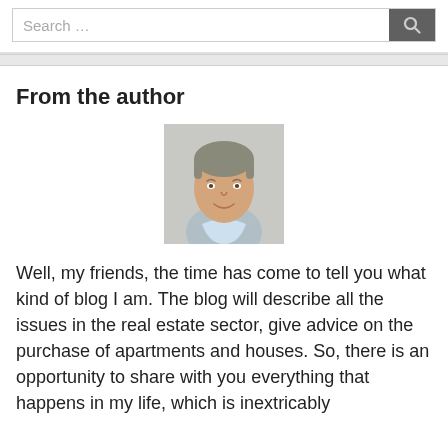Search ...
From the author
[Figure (photo): Headshot of a middle-aged man with greying hair, smiling, wearing a light blue shirt, against a light grey background.]
Well, my friends, the time has come to tell you what kind of blog I am. The blog will describe all the issues in the real estate sector, give advice on the purchase of apartments and houses. So, there is an opportunity to share with you everything that happens in my life, which is inextricably